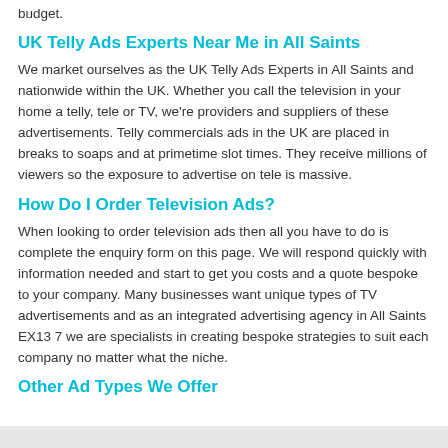budget.
UK Telly Ads Experts Near Me in All Saints
We market ourselves as the UK Telly Ads Experts in All Saints and nationwide within the UK. Whether you call the television in your home a telly, tele or TV, we're providers and suppliers of these advertisements. Telly commercials ads in the UK are placed in breaks to soaps and at primetime slot times. They receive millions of viewers so the exposure to advertise on tele is massive.
How Do I Order Television Ads?
When looking to order television ads then all you have to do is complete the enquiry form on this page. We will respond quickly with information needed and start to get you costs and a quote bespoke to your company. Many businesses want unique types of TV advertisements and as an integrated advertising agency in All Saints EX13 7 we are specialists in creating bespoke strategies to suit each company no matter what the niche.
Other Ad Types We Offer
[Figure (other): Gray bar at bottom of page]